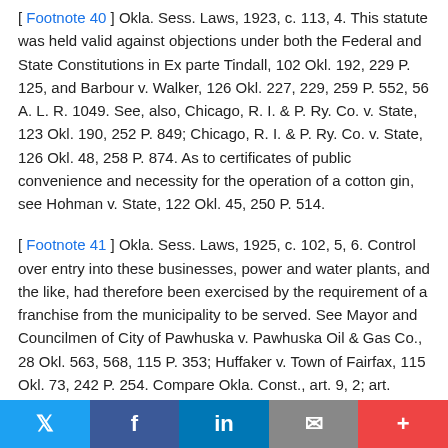[ Footnote 40 ] Okla. Sess. Laws, 1923, c. 113, 4. This statute was held valid against objections under both the Federal and State Constitutions in Ex parte Tindall, 102 Okl. 192, 229 P. 125, and Barbour v. Walker, 126 Okl. 227, 229, 259 P. 552, 56 A. L. R. 1049. See, also, Chicago, R. I. & P. Ry. Co. v. State, 123 Okl. 190, 252 P. 849; Chicago, R. I. & P. Ry. Co. v. State, 126 Okl. 48, 258 P. 874. As to certificates of public convenience and necessity for the operation of a cotton gin, see Hohman v. State, 122 Okl. 45, 250 P. 514.
[ Footnote 41 ] Okla. Sess. Laws, 1925, c. 102, 5, 6. Control over entry into these businesses, power and water plants, and the like, had therefore been exercised by the requirement of a franchise from the municipality to be served. See Mayor and Councilmen of City of Pawhuska v. Pawhuska Oil & Gas Co., 28 Okl. 563, 568, 115 P. 353; Huffaker v. Town of Fairfax, 115 Okl. 73, 242 P. 254. Compare Okla. Const., art. 9, 2; art.